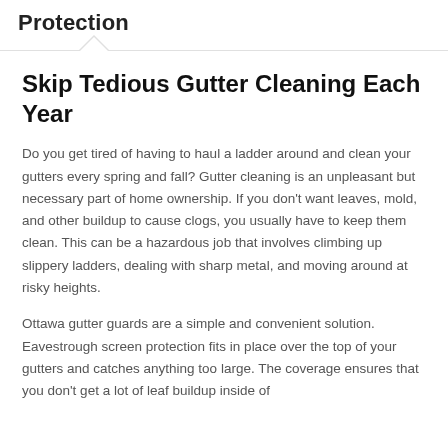Protection
Skip Tedious Gutter Cleaning Each Year
Do you get tired of having to haul a ladder around and clean your gutters every spring and fall? Gutter cleaning is an unpleasant but necessary part of home ownership. If you don't want leaves, mold, and other buildup to cause clogs, you usually have to keep them clean. This can be a hazardous job that involves climbing up slippery ladders, dealing with sharp metal, and moving around at risky heights.
Ottawa gutter guards are a simple and convenient solution. Eavestrough screen protection fits in place over the top of your gutters and catches anything too large. The coverage ensures that you don't get a lot of leaf buildup inside of